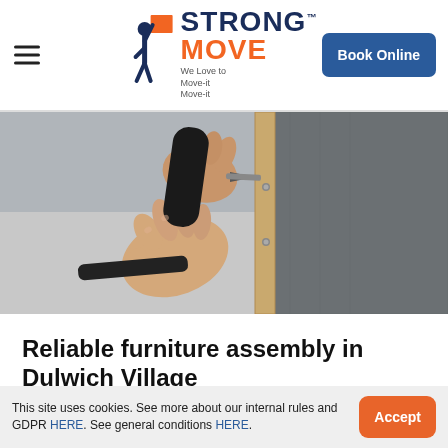STRONG MOVE™ — We Love to Move-it Move-it | Book Online
[Figure (photo): Close-up of hands using a power screwdriver/drill to assemble furniture — attaching a leg to a grey upholstered chair or sofa frame, showing wooden frame and fabric.]
Reliable furniture assembly in Dulwich Village
This site uses cookies. See more about our internal rules and GDPR HERE. See general conditions HERE.